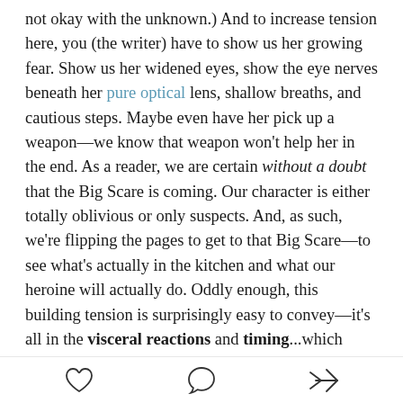not okay with the unknown.) And to increase tension here, you (the writer) have to show us her growing fear. Show us her widened eyes, show the eye nerves beneath her pure optical lens, shallow breaths, and cautious steps. Maybe even have her pick up a weapon—we know that weapon won't help her in the end. As a reader, we are certain without a doubt that the Big Scare is coming. Our character is either totally oblivious or only suspects. And, as such, we're flipping the pages to get to that Big Scare—to see what's actually in the kitchen and what our heroine will actually do. Oddly enough, this building tension is surprisingly easy to convey—it's all in the visceral reactions and timing...which leads to #2.
The Reader Must be Focused Completely on
♡  ◯  ➤